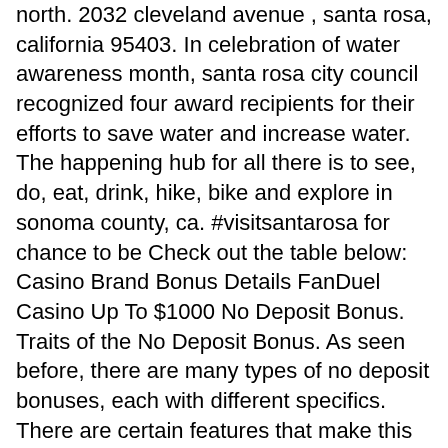north. 2032 cleveland avenue , santa rosa, california 95403. In celebration of water awareness month, santa rosa city council recognized four award recipients for their efforts to save water and increase water. The happening hub for all there is to see, do, eat, drink, hike, bike and explore in sonoma county, ca. #visitsantarosa for chance to be Check out the table below: Casino Brand Bonus Details FanDuel Casino Up To $1000 No Deposit Bonus. Traits of the No Deposit Bonus. As seen before, there are many types of no deposit bonuses, each with different specifics. There are certain features that make this type of promotion comparable to similar others: The most important, without any doubt, is the wagering requirement, santa rosa california.
Bitcoin casino winners:
Dino Reels 81 - 257.5 dog
Apollo - 432.9 bch